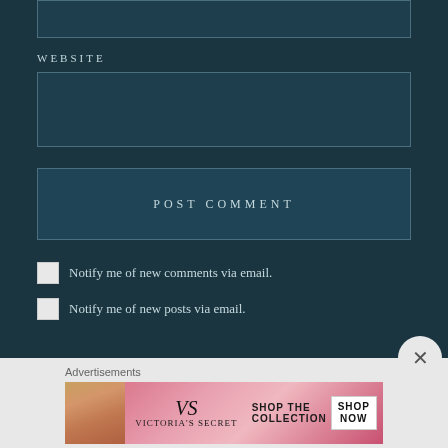WEBSITE
[Figure (screenshot): Web form with WEBSITE label, input fields, POST COMMENT button, and two checkboxes for email notifications]
Notify me of new comments via email.
Notify me of new posts via email.
Advertisements
[Figure (illustration): Victoria's Secret advertisement banner with model, VS logo, and SHOP THE COLLECTION / SHOP NOW text]